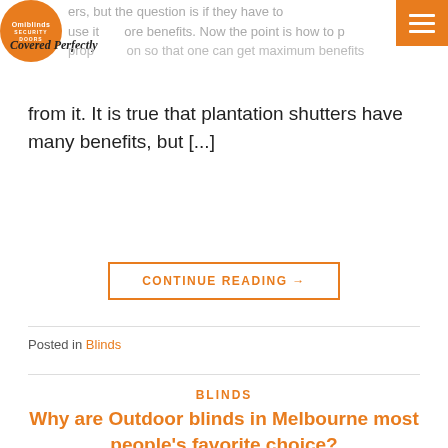OmiBlinds Security Doors — Covered Perfectly
from it. It is true that plantation shutters have many benefits, but [...]
CONTINUE READING →
Posted in Blinds
BLINDS
Why are Outdoor blinds in Melbourne most people's favorite choice?
POSTED ON FEBRUARY 26, 2019 BY ADMIN
Are you the one who likes to spend time on outdoor space? If